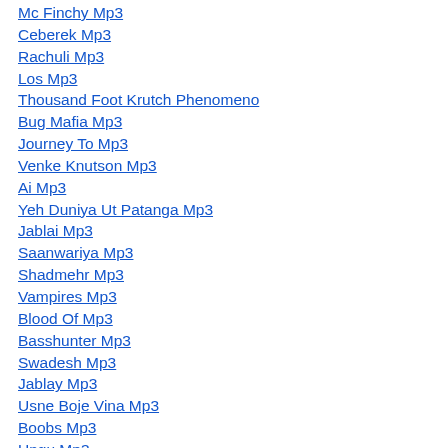Mc Finchy Mp3
Ceberek Mp3
Rachuli Mp3
Los Mp3
Thousand Foot Krutch Phenomeno
Bug Mafia Mp3
Journey To Mp3
Venke Knutson Mp3
Ai Mp3
Yeh Duniya Ut Patanga Mp3
Jablai Mp3
Saanwariya Mp3
Shadmehr Mp3
Vampires Mp3
Blood Of Mp3
Basshunter Mp3
Swadesh Mp3
Jablay Mp3
Usne Boje Vina Mp3
Boobs Mp3
Ungu Mp3
Clou Mp3
Viva Mp3
Justin Timberlake Mp3
Afterglow Inxs Feat Sona Mp3
Age Out Worn Right Mp3